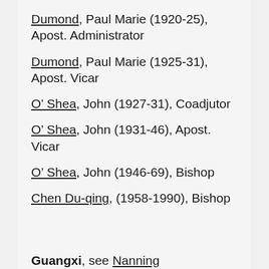Dumond, Paul Marie (1920-25), Apost. Administrator
Dumond, Paul Marie (1925-31), Apost. Vicar
O’ Shea, John (1927-31), Coadjutor
O’ Shea, John (1931-46), Apost. Vicar
O’ Shea, John (1946-69), Bishop
Chen Du-qing, (1958-1990), Bishop
Guangxi, see Nanning
Guangzhou [Canton], 11.5.1848 Apost. Prefecture Kouangtong/Kuangtung, 6.4.1914 Apost. Vicariate, 11.4.1946 Archdiocese